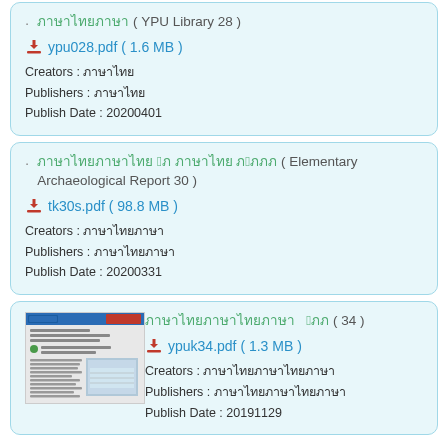ภาษาไทย (YPU Library 28)
ypu028.pdf ( 1.6 MB )
Creators : ภาษาไทย
Publishers : ภาษาไทย
Publish Date : 20200401
ภาษาไทยภาษาไทย ภ30ภ ภาษาไทย ภภ2ภภภ ( Elementary Archaeological Report 30 )
tk30s.pdf ( 98.8 MB )
Creators : ภาษาไทยภาษา
Publishers : ภาษาไทยภาษา
Publish Date : 20200331
[Figure (photo): Thumbnail image of document cover for ypuk34.pdf]
ภาษาไทยภาษาไทยภาษา ภ34ภ ( 34 )
ypuk34.pdf ( 1.3 MB )
Creators : ภาษาไทยภาษาไทยภาษาไทย
Publishers : ภาษาไทยภาษาไทยภาษาไทย
Publish Date : 20191129